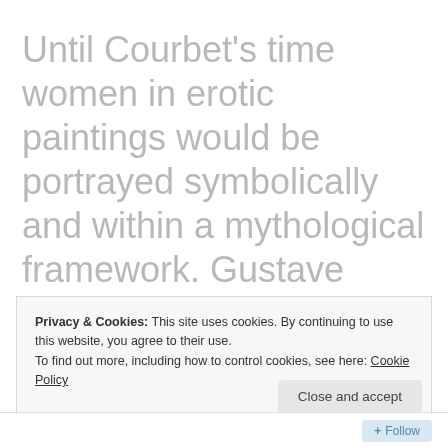Until Courbet's time women in erotic paintings would be portrayed symbolically and within a mythological framework. Gustave Courbet brought the real woman in the forefront therefore creating one of the greatest feminist artworks in the history of art.
Privacy & Cookies: This site uses cookies. By continuing to use this website, you agree to their use. To find out more, including how to control cookies, see here: Cookie Policy
Close and accept